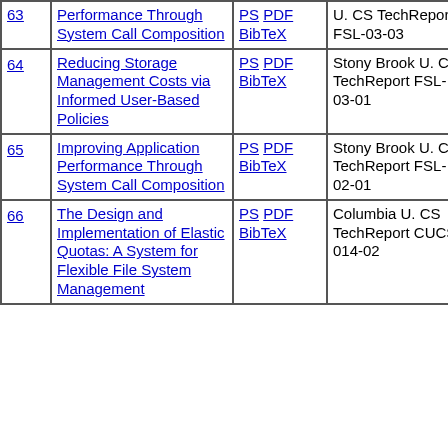| # | Title | Links | Venue | Date | Extra |
| --- | --- | --- | --- | --- | --- |
| 63 | Performance Through System Call Composition | PS PDF BibTeX | U. CS TechReport FSL-03-03 | Jun 2003 | M.S. Thes |
| 64 | Reducing Storage Management Costs via Informed User-Based Policies | PS PDF BibTeX | Stony Brook U. CS TechReport FSL-03-01 | Mar 2003 |  |
| 65 | Improving Application Performance Through System Call Composition | PS PDF BibTeX | Stony Brook U. CS TechReport FSL-02-01 | Jun 2002 |  |
| 66 | The Design and Implementation of Elastic Quotas: A System for Flexible File System Management | PS PDF BibTeX | Columbia U. CS TechReport CUCS-014-02 | Jun 2002 |  |